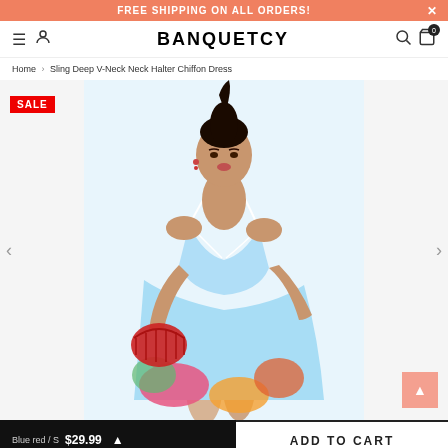FREE SHIPPING ON ALL ORDERS!
BANQUETCY
Home › Sling Deep V-Neck Neck Halter Chiffon Dress
[Figure (photo): Product photo of a model wearing a light blue sling deep V-neck halter chiffon dress with colorful floral print at the bottom, holding a red basket bag. SALE badge in top-left corner.]
Blue red / S  $29.99
ADD TO CART